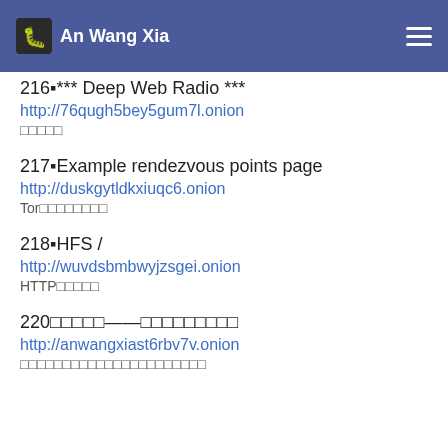An Wang Xia
216▪*** Deep Web Radio ***
http://76qugh5bey5gum7l.onion
□□□□□
217▪Example rendezvous points page
http://duskgytldkxiuqc6.onion
Tor□□□□□□□□
218▪HFS /
http://wuvdsbmbwyjzsgei.onion
HTTP□□□□□
220□□□□□——□□□□□□□□□
http://anwangxiast6rbv7v.onion
□□□□□□□□□□□□□□□□□□□□□□